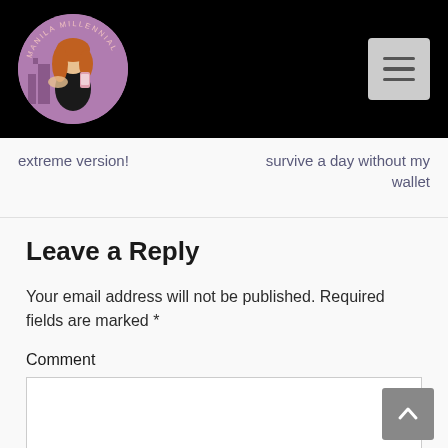[Figure (logo): Manila Millennial blog logo — circular avatar showing a red-haired woman holding a phone against a purple/pink background with city skyline, with text 'MANILA MILLENNIAL' around the circle]
extreme version!
survive a day without my wallet
Leave a Reply
Your email address will not be published. Required fields are marked *
Comment